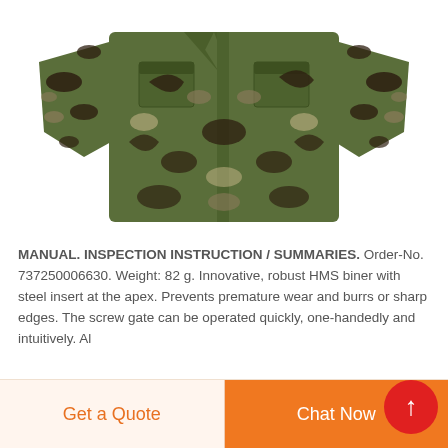[Figure (photo): Military woodland camouflage BDU jacket laid flat, showing front with button closure, chest pockets, and long sleeves, on white background.]
MANUAL. INSPECTION INSTRUCTION / SUMMARIES. Order-No. 737250006630. Weight: 82 g. Innovative, robust HMS biner with steel insert at the apex. Prevents premature wear and burrs or sharp edges. The screw gate can be operated quickly, one-handedly and intuitively. Al
Get a Quote
Chat Now